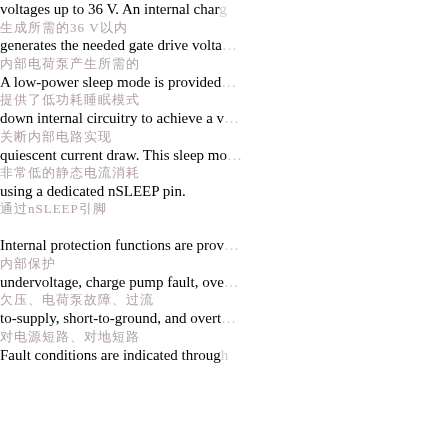voltages up to 36 V. An internal charge pump
生成所需的栅极驱动电压
generates the needed gate drive volta…
内部电荷泵产生36 V以内的
A low-power sleep mode is provided…
低功耗睡眠模式关断内部电路
down internal circuitry to achieve a v…
实现非常低的静态电流消耗
quiescent current draw. This sleep mo…
该睡眠模式通过专用nSLEEP引脚激活
using a dedicated nSLEEP pin.
通过nSLEEP引脚
Internal protection functions are prov…
内部保护功能包括
undervoltage, charge pump fault, ove…
欠压、电荷泵故障、过流
to-supply, short-to-ground, and overt…
对电源短路、对地短路和过温
Fault conditions are indicated throug…